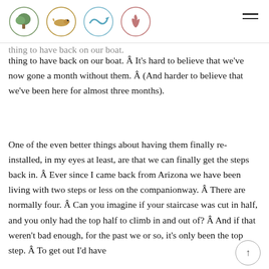[Figure (logo): Four circular icons in a header row: a green tree, a golden creature, a light blue wave/fish, and a pink/red flame. A hamburger menu icon is on the right.]
thing to have back on our boat. Â It's hard to believe that we've now gone a month without them. Â (And harder to believe that we've been here for almost three months).
One of the even better things about having them finally re-installed, in my eyes at least, are that we can finally get the steps back in. Â Ever since I came back from Arizona we have been living with two steps or less on the companionway. Â There are normally four. Â Can you imagine if your staircase was cut in half, and you only had the top half to climb in and out of? Â And if that weren't bad enough, for the past we or so, it's only been the top step. Â To get out I'd have